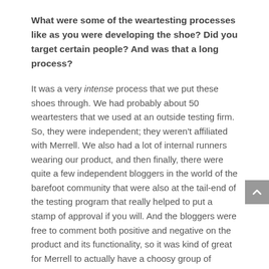What were some of the weartesting processes like as you were developing the shoe? Did you target certain people? And was that a long process?
It was a very intense process that we put these shoes through. We had probably about 50 weartesters that we used at an outside testing firm. So, they were independent; they weren't affiliated with Merrell. We also had a lot of internal runners wearing our product, and then finally, there were quite a few independent bloggers in the world of the barefoot community that were also at the tail-end of the testing program that really helped to put a stamp of approval if you will. And the bloggers were free to comment both positive and negative on the product and its functionality, so it was kind of great for Merrell to actually have a choosy group of individuals actually give those shoes some major props. So, we're very excited about that. That been a really great process and a great opportunity for the